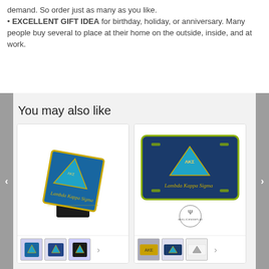demand. So order just as many as you like.
• EXCELLENT GIFT IDEA for birthday, holiday, or anniversary. Many people buy several to place at their home on the outside, inside, and at work.
You may also like
[Figure (photo): Lambda Kappa Sigma hitch cover product card showing a dark blue diamond-shaped hitch cover with gold trim and LKS crest, with multiple thumbnail images below]
[Figure (photo): Lambda Kappa Sigma license plate product card showing a rectangular navy blue license plate with LKS crest and gold trim, with a small circular logo below and thumbnail images]